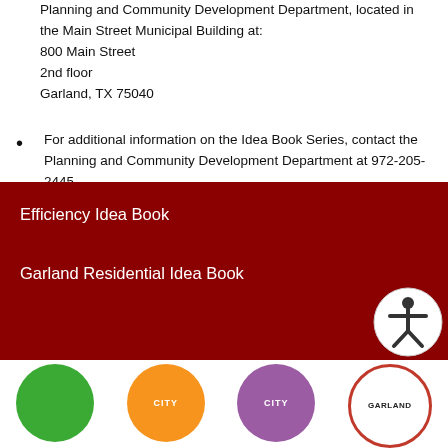Hardcopies can be purchased for $10.00 at the Planning and Community Development Department, located in the Main Street Municipal Building at:
800 Main Street
2nd floor
Garland, TX 75040
For additional information on the Idea Book Series, contact the Planning and Community Development Department at 972-205-2445.
Efficiency Idea Book
Garland Residential Idea Book
[Figure (logo): Accessibility/person icon in circular white button]
[Figure (logo): Row of four colored circular city logos: green, orange, purple, and Garland red-outlined]